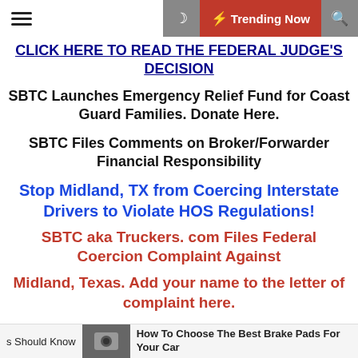Trending Now
CLICK HERE TO READ THE FEDERAL JUDGE'S DECISION
SBTC Launches Emergency Relief Fund for Coast Guard Families. Donate Here.
SBTC Files Comments on Broker/Forwarder Financial Responsibility
Stop Midland, TX from Coercing Interstate Drivers to Violate HOS Regulations!
SBTC aka Truckers. com Files Federal Coercion Complaint Against
Midland, Texas. Add your name to the letter of complaint here.
Should Know | How To Choose The Best Brake Pads For Your Car